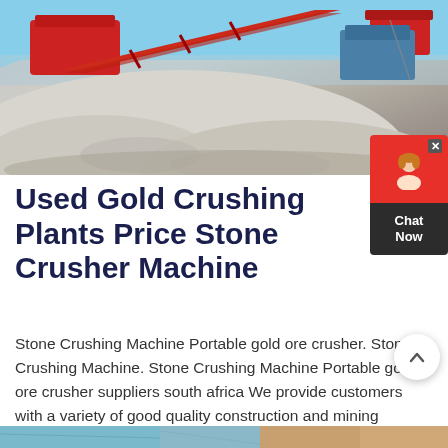[Figure (photo): Outdoor photo of stone crushing machinery with red conveyor belts and white/grey crushed stone aggregate piles at a mining or quarry site.]
Used Gold Crushing Plants Price Stone Crusher Machine
Stone Crushing Machine Portable gold ore crusher. Stone Crushing Machine. Stone Crushing Machine Portable gold ore crusher suppliers south africa We provide customers with a variety of good quality construction and mining crushing equipment, and optimize the combination various types of equipment to meet different proc needs.
[Figure (photo): Partial view of another outdoor mining/quarrying scene at bottom of page.]